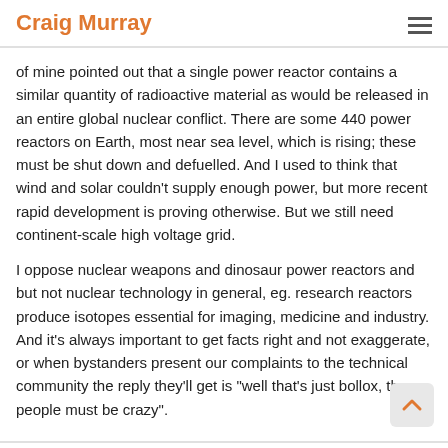Craig Murray
of mine pointed out that a single power reactor contains a similar quantity of radioactive material as would be released in an entire global nuclear conflict. There are some 440 power reactors on Earth, most near sea level, which is rising; these must be shut down and defuelled. And I used to think that wind and solar couldn't supply enough power, but more recent rapid development is proving otherwise. But we still need continent-scale high voltage grid.
I oppose nuclear weapons and dinosaur power reactors and but not nuclear technology in general, eg. research reactors produce isotopes essential for imaging, medicine and industry. And it's always important to get facts right and not exaggerate, or when bystanders present our complaints to the technical community the reply they'll get is "well that's just bollox, these people must be crazy".
April 29, 2020 at 04:25 REPLY #52686